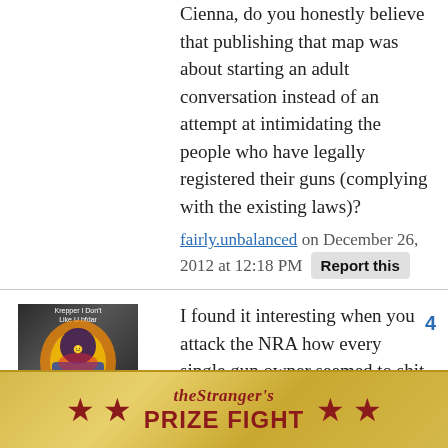Cienna, do you honestly believe that publishing that map was about starting an adult conversation instead of an attempt at intimidating the people who have legally registered their guns (complying with the existing laws)?
fairly.unbalanced on December 26, 2012 at 12:18 PM  Report this
I found it interesting when you attack the NRA how every single gun owner seemed to shit themselves even on Slog.
It really proves Dan's point that guns are more
[Figure (screenshot): The Stranger's Prize Fight advertisement banner with gold background, red stars, and red text]
[Figure (photo): User avatar - small profile picture with colorful background]